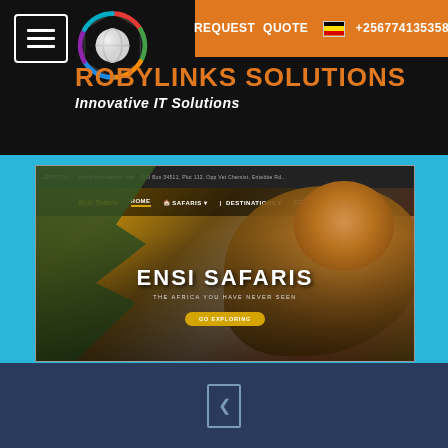[Figure (screenshot): Robylinks Solutions website header with hamburger menu, hexagon logo, brand name 'ROBYLINKS SOLUTIONS', tagline 'Innovative IT Solutions', and orange request quote bar with phone number +256774135358]
[Figure (screenshot): Screenshot of Ensi Safaris website showing a lion resting in a tree, with navigation bar, 'ENSI SAFARIS' heading, 'THE AFRICA YOU HAVE NEVER SEEN' subtitle, and 'GO EXPLORING' button]
Ensi Safaris
[Figure (other): Pagination bracket/arrow in bottom dark blue bar]